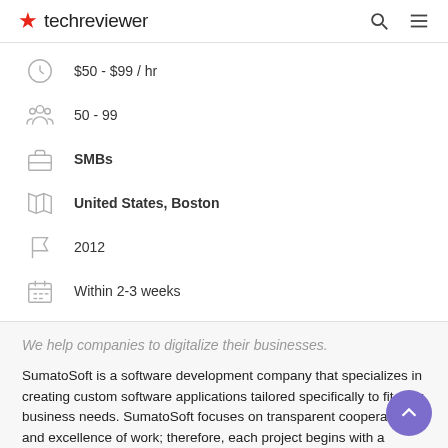techreviewer
$50 - $99 / hr
50 - 99
SMBs
United States, Boston
2012
Within 2-3 weeks
We help companies to digitalize their businesses.
SumatoSoft is a software development company that specializes in creating custom software applications tailored specifically to fit your business needs. SumatoSoft focuses on transparent cooperation and excellence of work; therefore, each project begins with a